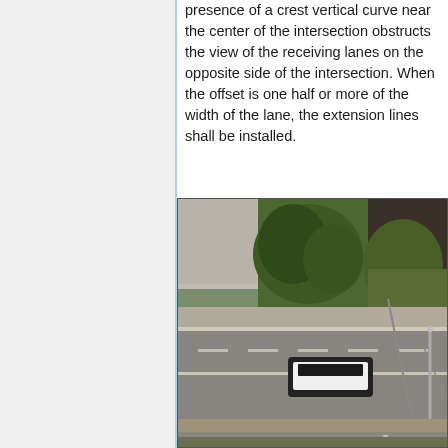presence of a crest vertical curve near the center of the intersection obstructs the view of the receiving lanes on the opposite side of the intersection. When the offset is one half or more of the width of the lane, the extension lines shall be installed.
[Figure (photo): Aerial photograph of a road intersection showing a vehicle (dark top, white body) traveling on a multi-lane road with lane markings, curbs, sidewalks, and surrounding vegetation and buildings.]